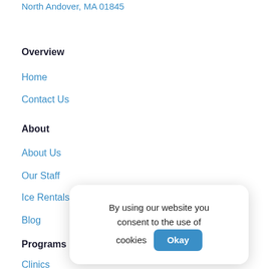North Andover, MA 01845
Overview
Home
Contact Us
About
About Us
Our Staff
Ice Rentals
Blog
Programs
Clinics
Private Less
Teams
By using our website you consent to the use of cookies Okay